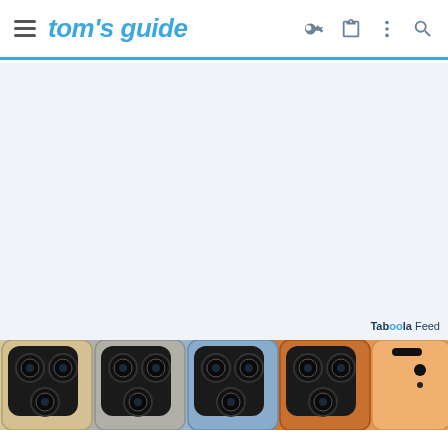tom's guide
[Figure (screenshot): Advertisement placeholder area with light blue-gray background]
Taboola Feed
[Figure (photo): Multiple iPhone models shown from the back, displaying triple camera systems in various colors including gold, silver, blue, and orange]